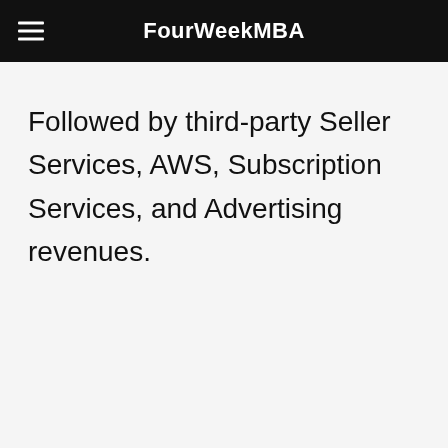FourWeekMBA
Followed by third-party Seller Services, AWS, Subscription Services, and Advertising revenues.